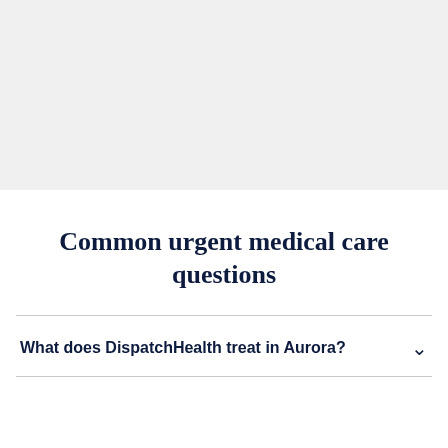[Figure (other): Gray background section occupying the top portion of the page]
Common urgent medical care questions
What does DispatchHealth treat in Aurora?